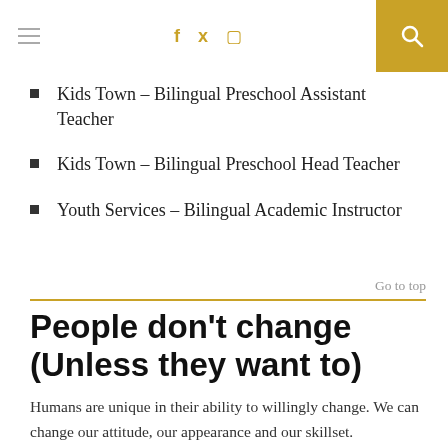hamburger menu | f t instagram icons | search
Kids Town – Bilingual Preschool Assistant Teacher
Kids Town – Bilingual Preschool Head Teacher
Youth Services – Bilingual Academic Instructor
Go to top
People don't change (Unless they want to)
Humans are unique in their ability to willingly change. We can change our attitude, our appearance and our skillset.